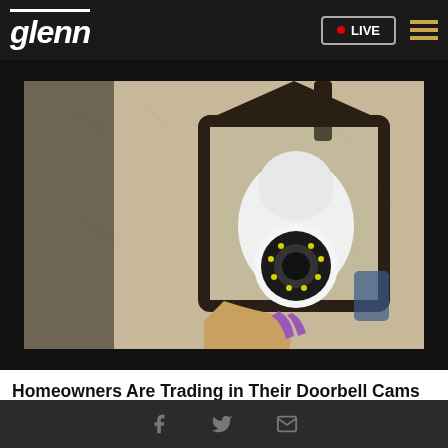glenn • LIVE
[Figure (photo): A white security camera being installed into a black outdoor lantern/light fixture mounted on a textured stone wall. A hand with purple fingernails is visible holding the camera.]
Homeowners Are Trading in Their Doorbell Cams for This.
Keillini.com
Facebook Twitter Email icons